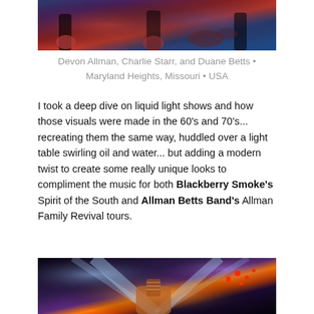[Figure (photo): Concert photo showing Devon Allman, Charlie Starr, and Duane Betts on stage in Maryland Heights, Missouri, USA]
Devon Allman, Charlie Starr, and Duane Betts • Maryland Heights, Missouri • USA
I took a deep dive on liquid light shows and how those visuals were made in the 60's and 70's... recreating them the same way, huddled over a light table swirling oil and water... but adding a modern twist to create some really unique looks to compliment the music for both Blackberry Smoke's Spirit of the South and Allman Betts Band's Allman Family Revival tours.
[Figure (photo): Concert photo showing a guitarist on stage with dramatic light beams and red stage lighting]